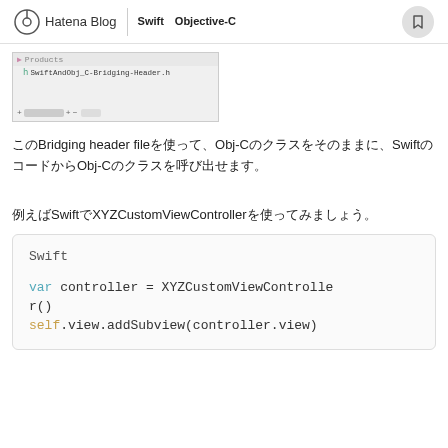Hatena Blog | SwiftとObjective-Cのプロジェクトを使いこなす
[Figure (screenshot): Xcode project navigator screenshot showing Products folder and SwiftAndObj_C-Bridging-Header.h file, with toolbar buttons at bottom]
このBridging header fileを使って、Obj-Cのクラスをそのままに、SwiftのコードからObj-Cのクラスを呼び出せます。
例えばSwiftでXYZCustomViewControllerを使ってみましょう。
Swift

var controller = XYZCustomViewController()
self.view.addSubview(controller.view)